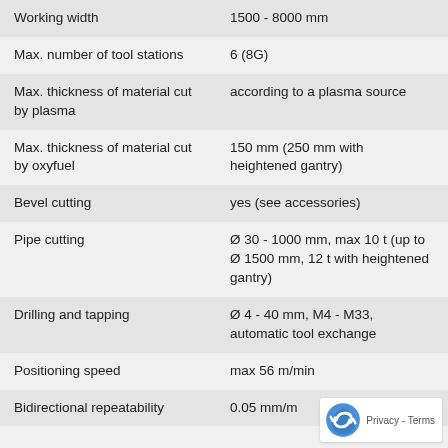| Property | Value |
| --- | --- |
| Working width | 1500 - 8000 mm |
| Max. number of tool stations | 6 (8G) |
| Max. thickness of material cut by plasma | according to a plasma source |
| Max. thickness of material cut by oxyfuel | 150 mm (250 mm with heightened gantry) |
| Bevel cutting | yes (see accessories) |
| Pipe cutting | Ø 30 - 1000 mm, max 10 t (up to Ø 1500 mm, 12 t with heightened gantry) |
| Drilling and tapping | Ø 4 - 40 mm, M4 - M33, automatic tool exchange |
| Positioning speed | max 56 m/min |
| Bidirectional repeatability | 0.05 mm/m |